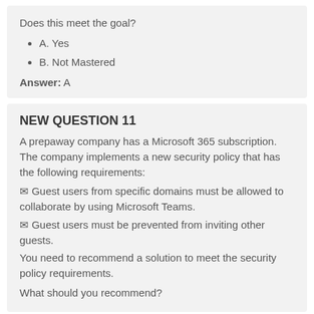Does this meet the goal?
A. Yes
B. Not Mastered
Answer: A
NEW QUESTION 11
A prepaway company has a Microsoft 365 subscription. The company implements a new security policy that has the following requirements:
Guest users from specific domains must be allowed to collaborate by using Microsoft Teams.
Guest users must be prevented from inviting other guests.
You need to recommend a solution to meet the security policy requirements.
What should you recommend?